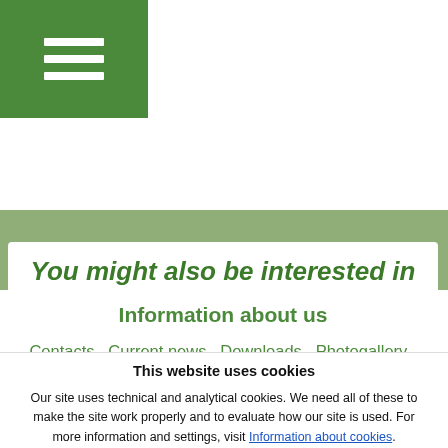[Figure (other): Green hamburger menu button in top-left corner]
You might also be interested in
Information about us
Contacts  Current news  Downloads  Photogallery  Jobs  DIAMO news  Certificates and awards  Information about cookies
This website uses cookies
Our site uses technical and analytical cookies. We need all of these to make the site work properly and to evaluate how our site is used. For more information and settings, visit Information about cookies.
Fine by me, I accept   Settings